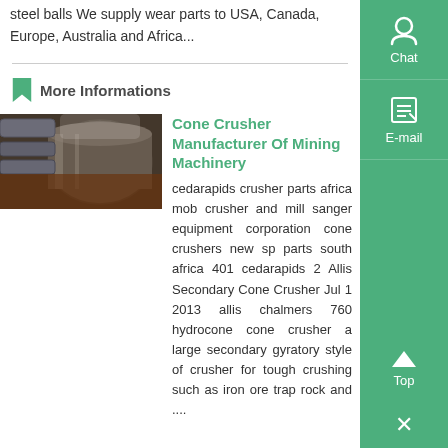steel balls We supply wear parts to USA, Canada, Europe, Australia and Africa...
More Informations
[Figure (photo): Industrial cone crusher or mill machinery equipment, showing large cylindrical metal drums and machinery in a factory setting]
Cone Crusher Manufacturer Of Mining Machinery
cedarapids crusher parts africa mobile crusher and mill sanger equipment corporation cone crushers new spare parts south africa 401 cedarapids 2 Allis Secondary Cone Crusher Jul 1 2013 allis chalmers 760 hydrocone cone crusher a large secondary gyratory style of crusher for tough crushing such as iron ore trap rock and ....